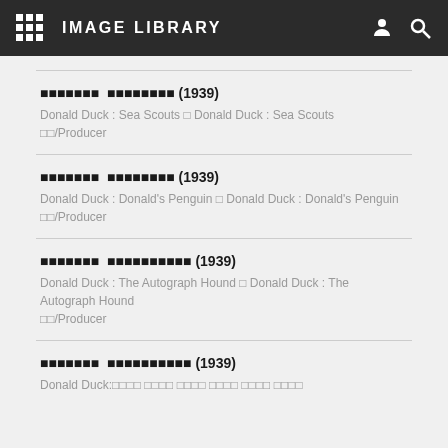IMAGE LIBRARY
xxxxxxx  xxxxxxxxx (1939)
Donald Duck : Sea Scouts ⊡ Donald Duck : Sea Scouts
⊡⊡/Producer
xxxxxxx  xxxxxxxxx (1939)
Donald Duck : Donald's Penguin ⊡ Donald Duck : Donald's Penguin
⊡⊡/Producer
xxxxxxx  xxxxxxxxxx (1939)
Donald Duck : The Autograph Hound ⊡ Donald Duck : The Autograph Hound
⊡⊡/Producer
xxxxxxx  xxxxxxxxxx (1939)
Donald Duck : ⊡⊡⊡⊡ ⊡⊡⊡⊡ ⊡⊡⊡⊡ ⊡⊡⊡⊡ ⊡⊡⊡⊡ ⊡⊡⊡⊡ ⊡⊡⊡⊡